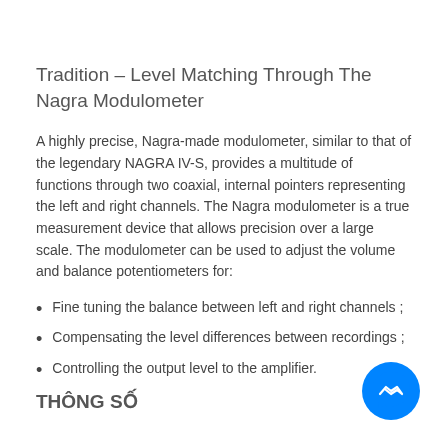Tradition – Level Matching Through The Nagra Modulometer
A highly precise, Nagra-made modulometer, similar to that of the legendary NAGRA IV-S, provides a multitude of functions through two coaxial, internal pointers representing the left and right channels. The Nagra modulometer is a true measurement device that allows precision over a large scale. The modulometer can be used to adjust the volume and balance potentiometers for:
Fine tuning the balance between left and right channels ;
Compensating the level differences between recordings ;
Controlling the output level to the amplifier.
THÔNG SỐ